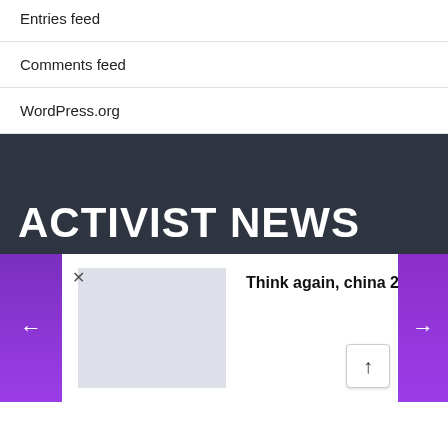Entries feed
Comments feed
WordPress.org
ACTIVIST NEWS
Think again, china 2060